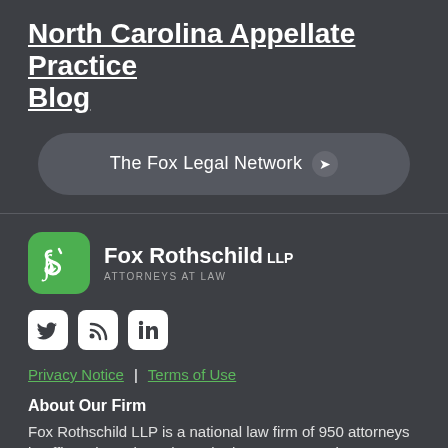North Carolina Appellate Practice Blog
The Fox Legal Network ❯
[Figure (logo): Fox Rothschild LLP Attorneys at Law logo — green rounded square icon with stylized S/F symbol, white text]
[Figure (logo): Social media icons row: Twitter bird icon, RSS feed icon, LinkedIn icon — all white on white rounded square backgrounds]
Privacy Notice | Terms of Use
About Our Firm
Fox Rothschild LLP is a national law firm of 950 attorneys in offices throughout the United States. We've been serving clients for more than a century,